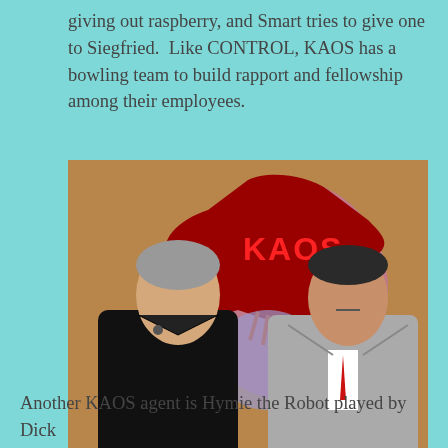giving out raspberry, and Smart tries to give one to Siegfried.  Like CONTROL, KAOS has a bowling team to build rapport and fellowship among their employees.
[Figure (photo): Two men standing in front of a KAOS logo/emblem. The man on the left wears a black leather jacket and has grey hair. The man on the right wears a grey suit with a red tie and looks stern. They appear to be from the TV show Get Smart.]
Another KAOS agent is Hymie the Robot played by Dick